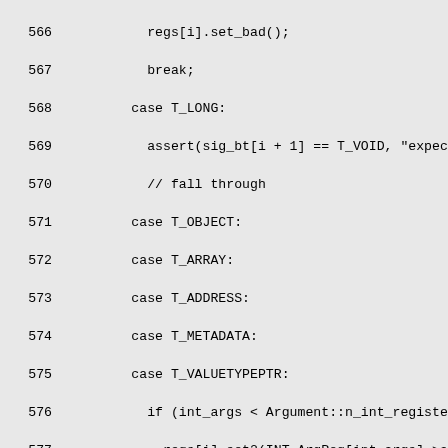[Figure (screenshot): Source code listing showing lines 566-595 of a C++ file. The code contains switch-case statements handling types T_LONG, T_OBJECT, T_ARRAY, T_ADDRESS, T_METADATA, T_VALUETYPEPTR, T_FLOAT, T_DOUBLE with register assignment logic using INT_ArgReg and FP_ArgReg arrays.]